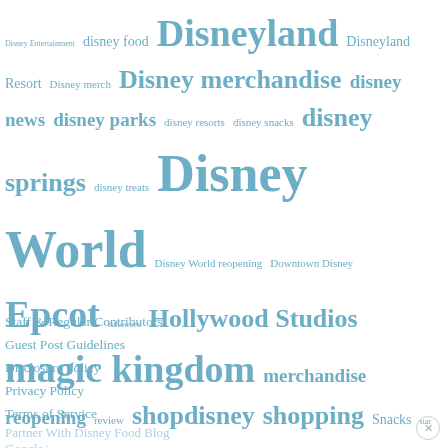[Figure (other): Tag cloud with Disney-related topics in various font sizes, all in a steel blue color. Tags include: Disney Entertainment, disney food, Disneyland, Disneyland Resort, Disney merch, Disney merchandise, disney news, disney parks, disney resorts, disney snacks, disney springs, disney treats, Disney World, Disney World reopening, Downtown Disney, Epcot, halloween, Hollywood Studios, magic kingdom, merchandise, reopening, review, shopdisney, shopping, Snacks, star wars, Star Wars: Galaxy's Edge, Walt Disney World, what's new, World of Disney, World Showcase]
Staff & Regular Contributors
Guest Post Guidelines
Disclosure Policy
Privacy Policy
Terms of Service
Partner With Disney Food Blog
Google+